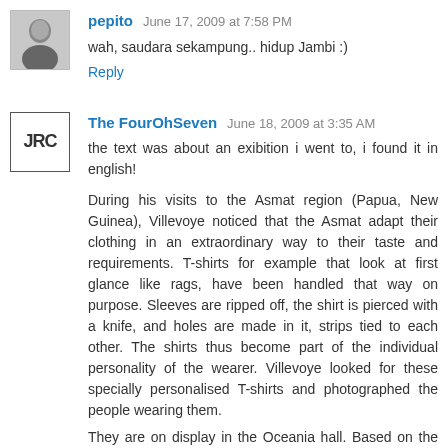[Figure (photo): Small avatar photo of commenter 'pepito', grayscale portrait of a man]
pepito June 17, 2009 at 7:58 PM
wah, saudara sekampung.. hidup Jambi :)
Reply
[Figure (logo): Text avatar showing 'JRC' letters as placeholder for The FourOhSeven commenter avatar]
The FourOhSeven June 18, 2009 at 3:35 AM
the text was about an exibition i went to, i found it in english!
During his visits to the Asmat region (Papua, New Guinea), Villevoye noticed that the Asmat adapt their clothing in an extraordinary way to their taste and requirements. T-shirts for example that look at first glance like rags, have been handled that way on purpose. Sleeves are ripped off, the shirt is pierced with a knife, and holes are made in it, strips tied to each other. The shirts thus become part of the individual personality of the wearer. Villevoye looked for these specially personalised T-shirts and photographed the people wearing them.
They are on display in the Oceania hall. Based on the work of Villevoye, cultural anthropologist Gosewijn van Beek